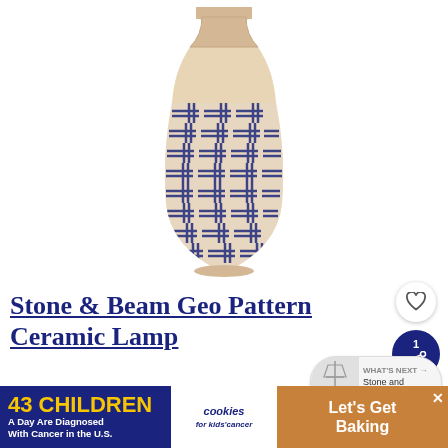[Figure (photo): A ceramic lamp/vase with blue and white geometric pattern (maze-like or basket-weave design) on a white background. The vessel is bottle-shaped, wider in the middle and narrower at the top, with a beige/natural colored neck and base rim.]
Stone & Beam Geo Pattern Ceramic Lamp
If y'all know me, you know that I am
[Figure (infographic): Advertisement banner at the bottom of the page. Blue section on left reads '43 CHILDREN A Day Are Diagnosed With Cancer in the U.S.' with yellow number. Middle white section shows 'cookies for kids' cancer' logo. Right brown/orange section shows 'Let's Get Baking' text. An X close button is visible.]